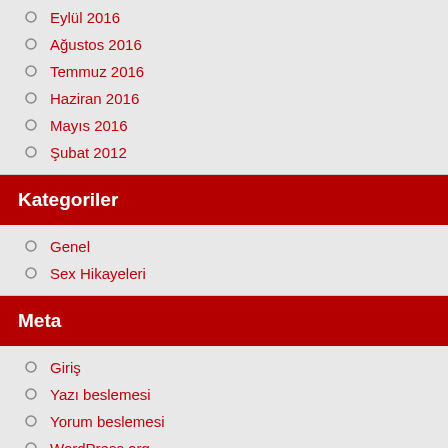Eylül 2016
Ağustos 2016
Temmuz 2016
Haziran 2016
Mayıs 2016
Şubat 2012
Kategoriler
Genel
Sex Hikayeleri
Meta
Giriş
Yazı beslemesi
Yorum beslemesi
WordPress.org